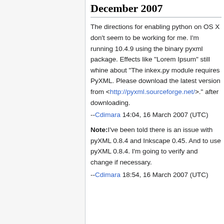December 2007
The directions for enabling python on OS X don't seem to be working for me. I'm running 10.4.9 using the binary pyxml package. Effects like "Lorem Ipsum" still whine about "The inkex.py module requires PyXML. Please download the latest version from <http://pyxml.sourceforge.net/>." after downloading.
--Cdimara 14:04, 16 March 2007 (UTC)
Note: I've been told there is an issue with pyXML 0.8.4 and Inkscape 0.45. And to use pyXML 0.8.4. I'm going to verify and change if necessary.
--Cdimara 18:54, 16 March 2007 (UTC)